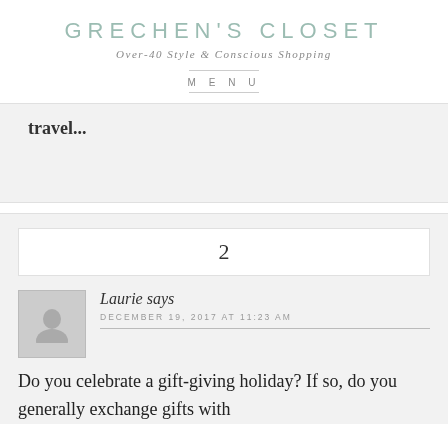GRECHEN'S CLOSET
Over-40 Style & Conscious Shopping
MENU
travel...
2
Laurie says
DECEMBER 19, 2017 AT 11:23 AM
Do you celebrate a gift-giving holiday? If so, do you generally exchange gifts with